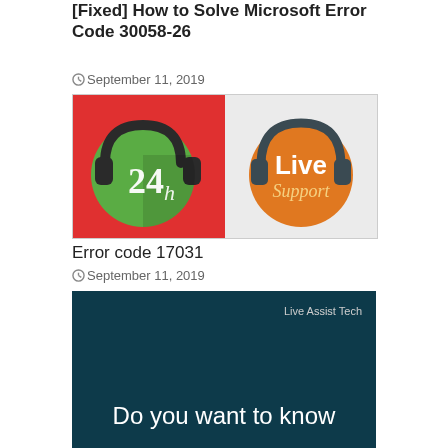[Fixed] How to Solve Microsoft Error Code 30058-26
September 11, 2019
[Figure (illustration): Two customer support icons side by side: left panel with red background showing a headset over a green circle with '24h' text; right panel with light grey background showing a headset over an orange circle with 'Live Support' text]
Error code 17031
September 11, 2019
[Figure (illustration): Dark teal banner with 'Live Assist Tech' text in top right corner and large white text reading 'Do you want to know' at the bottom]